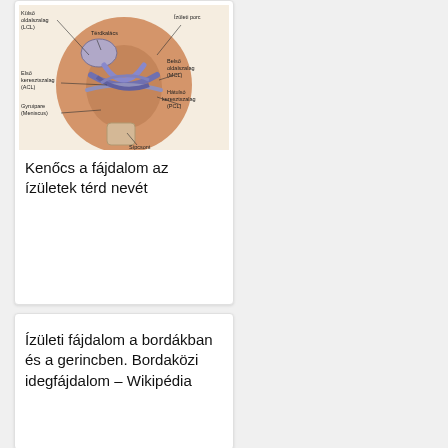[Figure (illustration): Anatomical illustration of a knee joint showing labeled ligaments and structures including Külső oldalszalag (LCL), Ízületi porc, Térdkalács, Belső oldalszalag (MCL), Első keresztszalag (ACL), Hátulsó keresztszalag (PCL), Gyruipare (Meniscus), and Sípcsont]
Kenőcs a fájdalom az ízületek térd nevét
Ízületi fájdalom a bordákban és a gerincben. Bordaközi idegfájdalom – Wikipédia